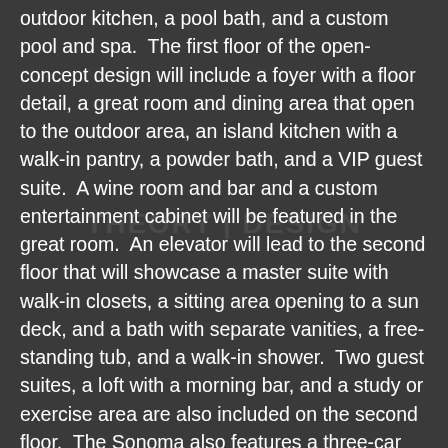outdoor kitchen, a pool bath, and a custom pool and spa.  The first floor of the open-concept design will include a foyer with a floor detail, a great room and dining area that open to the outdoor area, an island kitchen with a walk-in pantry, a powder bath, and a VIP guest suite.  A wine room and bar and a custom entertainment cabinet will be featured in the great room.  An elevator will lead to the second floor that will showcase a master suite with walk-in closets, a sitting area opening to a sun deck, and a bath with separate vanities, a free-standing tub, and a walk-in shower.  Two guest suites, a loft with a morning bar, and a study or exercise area are also included on the second floor.  The Sonoma also features a three-car garage.
Ruta Menaghlazi has created a clean-lined California coastal style for the Sonoma.  Seven-inch wide light wire brushed oak hardwood